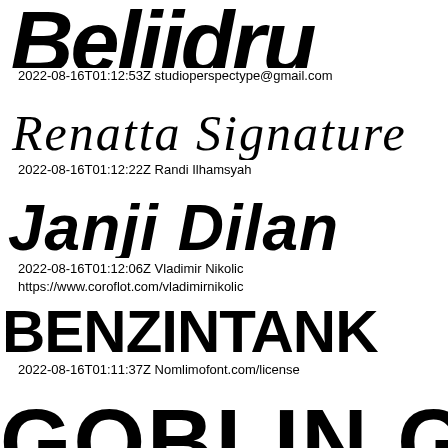[Figure (illustration): Large decorative brush-style font displaying 'Beliidru' (partial, top-cropped) in rough handwritten style]
2022-08-16T01:12:53Z studioperspectype@gmail.com
[Figure (illustration): Flowing cursive script font displaying 'Renatta Signature']
2022-08-16T01:12:22Z Randi Ilhamsyah
[Figure (illustration): Bold brush italic font displaying 'Janji Dilan']
2022-08-16T01:12:06Z Vladimir Nikolic
https://www.coroflot.com/vladimirnikolic
[Figure (illustration): Heavy bold sans-serif all-caps font displaying 'BENZINTANK']
2022-08-16T01:11:37Z Nomlimofont.com/license
[Figure (illustration): Heavy decorative font displaying 'GOBLIN G' (partial, bottom-cropped)]